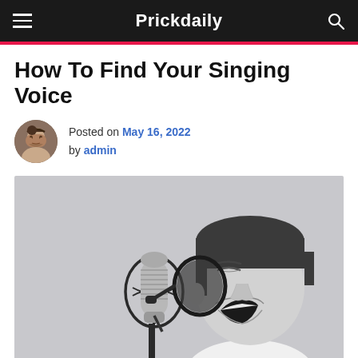Prickdaily
How To Find Your Singing Voice
Posted on May 16, 2022 by admin
[Figure (photo): Black and white photo of a young boy with short dark hair singing or shouting into a professional studio condenser microphone with a pop filter, mouth wide open, eyes closed, wearing a white t-shirt, on a light gray background.]